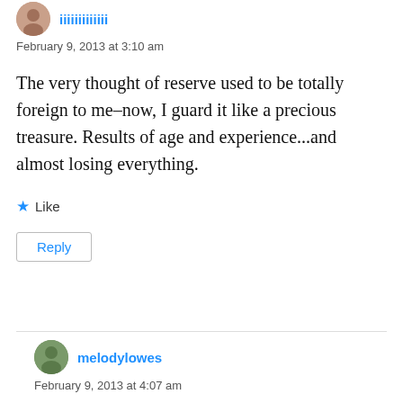[Figure (illustration): Small circular avatar photo of a person]
February 9, 2013 at 3:10 am
The very thought of reserve used to be totally foreign to me–now, I guard it like a precious treasure. Results of age and experience...and almost losing everything.
★ Like
Reply
[Figure (illustration): Small circular avatar photo of melodylowes]
melodylowes
February 9, 2013 at 4:07 am
Life lessons well worth learning – too bad